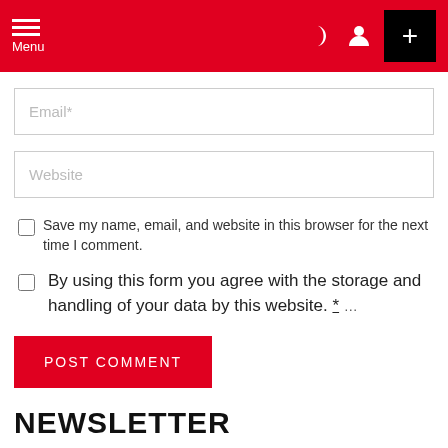Menu
Email*
Website
Save my name, email, and website in this browser for the next time I comment.
By using this form you agree with the storage and handling of your data by this website. *…
POST COMMENT
NEWSLETTER